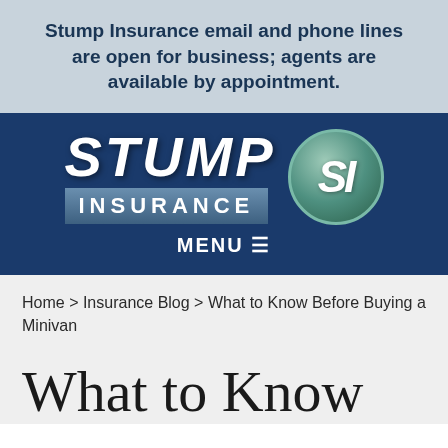Stump Insurance email and phone lines are open for business; agents are available by appointment.
[Figure (logo): Stump Insurance logo with bold white italic STUMP text, INSURANCE in a steel blue bar, and an SI monogram in a teal circular badge, set on a dark navy background with MENU≡ navigation bar below]
Home > Insurance Blog > What to Know Before Buying a Minivan
What to Know